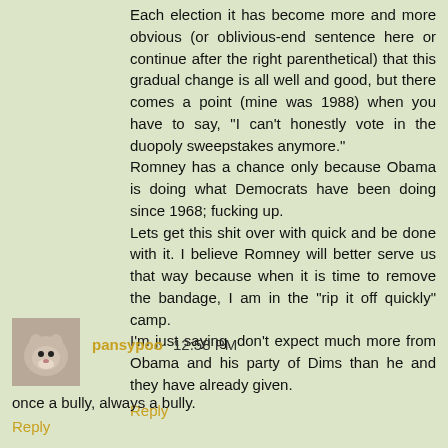Each election it has become more and more obvious (or oblivious-end sentence here or continue after the right parenthetical) that this gradual change is all well and good, but there comes a point (mine was 1988) when you have to say, "I can't honestly vote in the duopoly sweepstakes anymore."
Romney has a chance only because Obama is doing what Democrats have been doing since 1968; fucking up.
Lets get this shit over with quick and be done with it. I believe Romney will better serve us that way because when it is time to remove the bandage, I am in the "rip it off quickly" camp.
I'm just saying, don't expect much more from Obama and his party of Dims than he and they have already given.
Reply
pansypoo 12:58 PM
once a bully, always a bully.
Reply